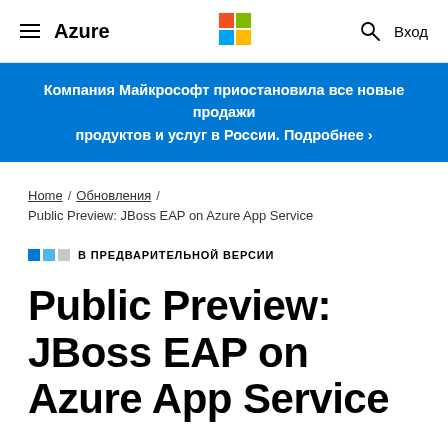≡ Azure  [Microsoft Logo]  🔍 Вход
Компания Майкрософт приостановила все новые продажи продуктов и услуг в России. Подробнее ›
Home / Обновления / Public Preview: JBoss EAP on Azure App Service
В ПРЕДВАРИТЕЛЬНОЙ ВЕРСИИ
Public Preview: JBoss EAP on Azure App Service